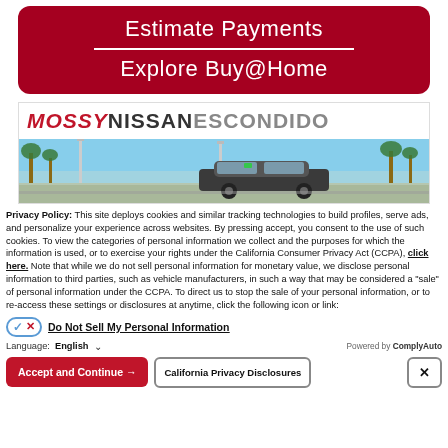Estimate Payments
Explore Buy@Home
[Figure (photo): Mossy Nissan Escondido dealership banner image showing the dealer logo and a photo of the dealership lot with cars and palm trees under a blue sky]
Privacy Policy: This site deploys cookies and similar tracking technologies to build profiles, serve ads, and personalize your experience across websites. By pressing accept, you consent to the use of such cookies. To view the categories of personal information we collect and the purposes for which the information is used, or to exercise your rights under the California Consumer Privacy Act (CCPA), click here. Note that while we do not sell personal information for monetary value, we disclose personal information to third parties, such as vehicle manufacturers, in such a way that may be considered a "sale" of personal information under the CCPA. To direct us to stop the sale of your personal information, or to re-access these settings or disclosures at anytime, click the following icon or link:
Do Not Sell My Personal Information
Language: English
Powered by ComplyAuto
Accept and Continue →  California Privacy Disclosures  ×